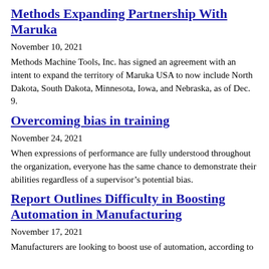Methods Expanding Partnership With Maruka
November 10, 2021
Methods Machine Tools, Inc. has signed an agreement with an intent to expand the territory of Maruka USA to now include North Dakota, South Dakota, Minnesota, Iowa, and Nebraska, as of Dec. 9.
Overcoming bias in training
November 24, 2021
When expressions of performance are fully understood throughout the organization, everyone has the same chance to demonstrate their abilities regardless of a supervisor’s potential bias.
Report Outlines Difficulty in Boosting Automation in Manufacturing
November 17, 2021
Manufacturers are looking to boost use of automation, according to